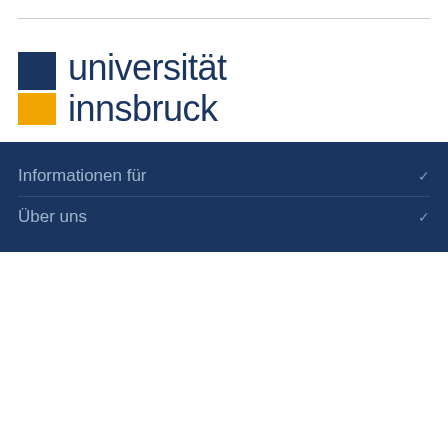[Figure (logo): Universität Innsbruck logo with dark blue and orange squares and text 'universität innsbruck']
© Universität Innsbruck
Innrain 52, 6020 Innsbruck, T +43 512 507-0
Impressum | Datenschutz | Barrierefreiheit | Zertifikate
[Figure (logo): AURORA logo in grey text with triangle preceding the word]
Informationen für
Über uns